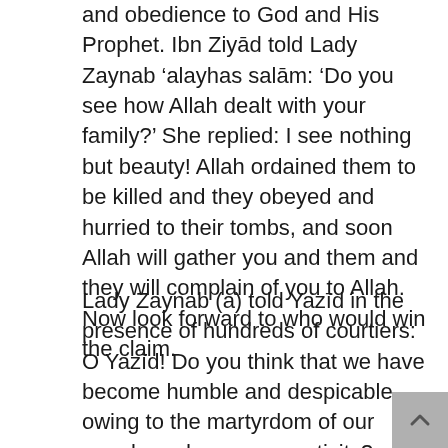and obedience to God and His Prophet. Ibn Ziyād told Lady Zaynab 'alayhas salām: 'Do you see how Allah dealt with your family?' She replied: I see nothing but beauty! Allah ordained them to be killed and they obeyed and hurried to their tombs, and soon Allah will gather you and them and they will complain of you to Allah. Now look forward to who would win the claim.
Lady Zaynab (a) told Yazīd in the presence of hundreds of courtiers: O Yazīd! Do you think that we have become humble and despicable owing to the martyrdom of our people and our own captivity? . . . You have become boastful because you think that the matters have taken a turn in your favor . . . If you have gained something today by